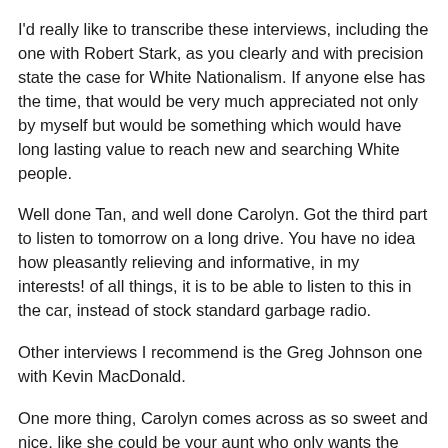I'd really like to transcribe these interviews, including the one with Robert Stark, as you clearly and with precision state the case for White Nationalism. If anyone else has the time, that would be very much appreciated not only by myself but would be something which would have long lasting value to reach new and searching White people.
Well done Tan, and well done Carolyn. Got the third part to listen to tomorrow on a long drive. You have no idea how pleasantly relieving and informative, in my interests! of all things, it is to be able to listen to this in the car, instead of stock standard garbage radio.
Other interviews I recommend is the Greg Johnson one with Kevin MacDonald.
One more thing, Carolyn comes across as so sweet and nice, like she could be your aunt who only wants the best for you. So harmless yet, so much hard hitting